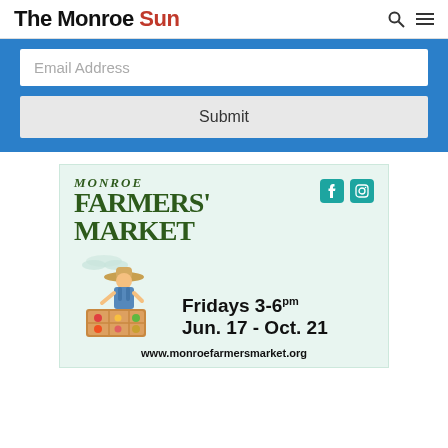The Monroe Sun
[Figure (screenshot): Email address input field with placeholder text 'Email Address' and a Submit button, inside a blue background signup box]
[Figure (illustration): Monroe Farmers' Market advertisement. Dark green serif text reads MONROE FARMERS' MARKET with Facebook and Instagram icons. Illustration of farmer with produce stand. Text: Fridays 3-6pm, Jun. 17 - Oct. 21, www.monroefarmersmarket.org. Light mint green background.]